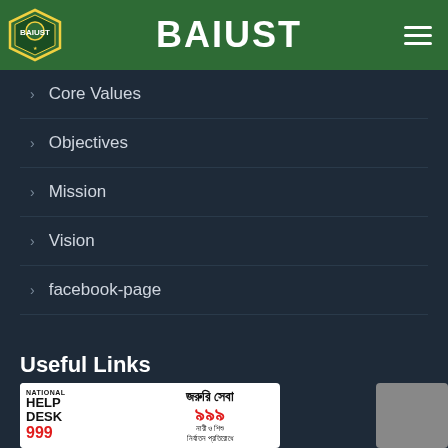BAIUST
Core Values
Objectives
Mission
Vision
facebook-page
Useful Links
[Figure (infographic): National Help Desk 999 / জরুরি সেবা ৯৯৯ / নারী ও শিশু নির্যাতন প্রতিরোধে 109 banner]